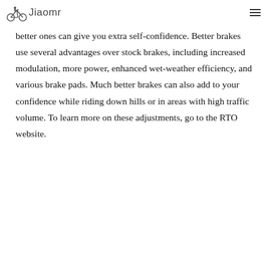Jiaomr
better ones can give you extra self-confidence. Better brakes use several advantages over stock brakes, including increased modulation, more power, enhanced wet-weather efficiency, and various brake pads. Much better brakes can also add to your confidence while riding down hills or in areas with high traffic volume. To learn more on these adjustments, go to the RTO website.